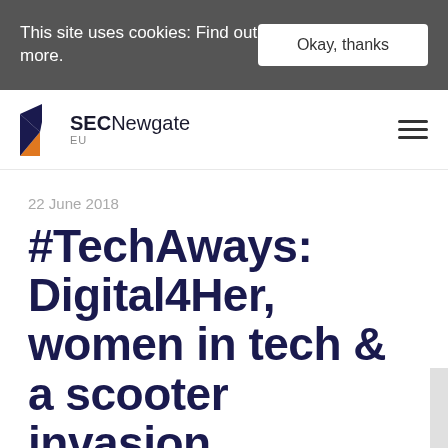This site uses cookies: Find out more.
Okay, thanks
[Figure (logo): SEC Newgate EU logo with angular arrow/chevron icon in dark blue and orange]
#TechAways: Digital4Her, women in tech & a scooter invasion
22 June 2018